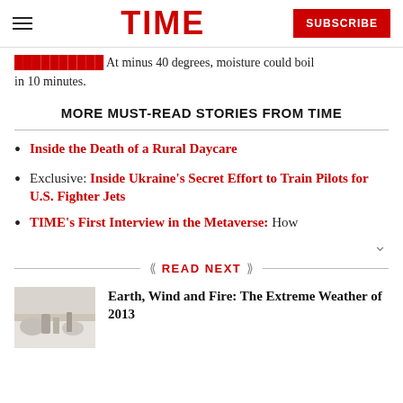TIME — SUBSCRIBE
in 10 minutes.
MORE MUST-READ STORIES FROM TIME
Inside the Death of a Rural Daycare
Exclusive: Inside Ukraine's Secret Effort to Train Pilots for U.S. Fighter Jets
TIME's First Interview in the Metaverse: How
READ NEXT
[Figure (photo): Black and white photo of a snowy winter scene with frozen objects and icy landscape]
Earth, Wind and Fire: The Extreme Weather of 2013